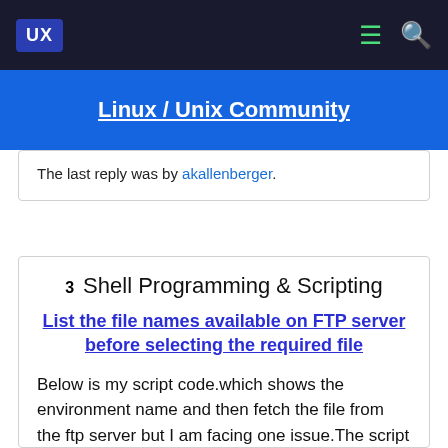UX  Linux / Unix Community
The last reply was by akallenberger.
3  Shell Programming & Scripting
List the file names available on FTP server before selecting the required file
Below is my script code.which shows the environment name and then fetch the file from the ftp server but I am facing one issue.The script should be run in both way.We can pass the arguments with script and select the environment name then file